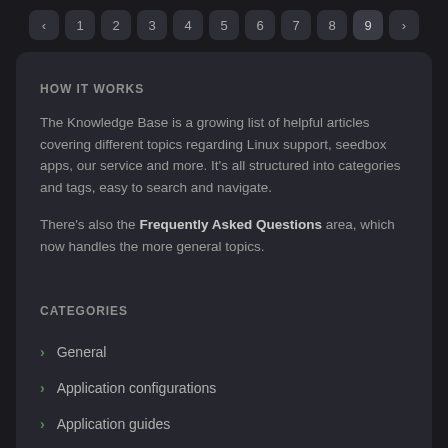‹ 1 2 3 4 5 6 7 8 9 ›
HOW IT WORKS
The Knowledge Base is a growing list of helpful articles covering different topics regarding Linux support, seedbox apps, our service and more. It's all structured into categories and tags, easy to search and navigate.
There's also the Frequently Asked Questions area, which now handles the more general topics.
CATEGORIES
General
Application configurations
Application guides
Billing